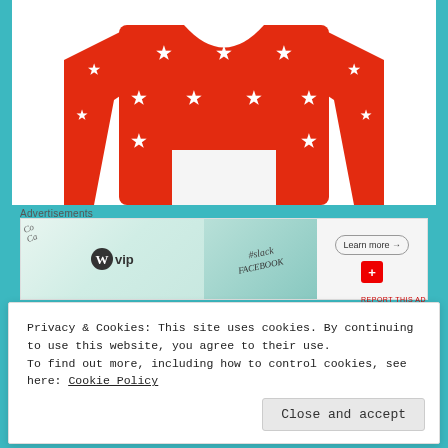[Figure (photo): Red cropped sweater with white star pattern, displayed on a white background. The sweater has long sleeves and multiple rows of white five-pointed stars across the body and sleeves.]
Advertisements
[Figure (screenshot): WordPress VIP advertisement banner showing the WordPress W logo, '#vip' text, and various social network logos (Slack, Facebook) with a 'Learn more →' button on the right side.]
REPORT THIS AD
Privacy & Cookies: This site uses cookies. By continuing to use this website, you agree to their use.
To find out more, including how to control cookies, see here: Cookie Policy
Close and accept